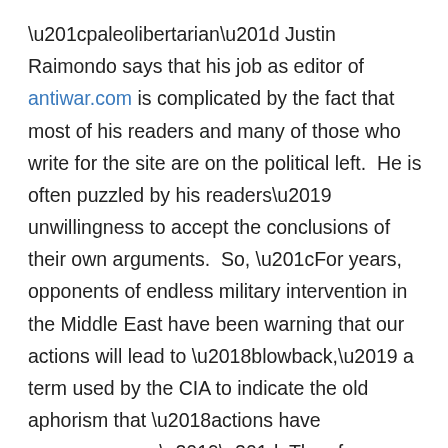“paleolibertarian” Justin Raimondo says that his job as editor of antiwar.com is complicated by the fact that most of his readers and many of those who write for the site are on the political left.  He is often puzzled by his readers’ unwillingness to accept the conclusions of their own arguments.  So, “For years, opponents of endless military intervention in the Middle East have been warning that our actions will lead to ‘blowback,’ a term used by the CIA to indicate the old aphorism that ‘actions have consequences.’”  Thus far Raimondo and his readers are in agreement.  However, when Raimondo suggested in a recent antiwar.com column that Major Nidal Malik Hasan may have acted on behalf of al-Qaeda when he massacred fellow US soldiers at Fort Hood, he was deluged with harsh criticism.  Unwilling to see the shooting as the major’s attempt to retaliate for US policies that had